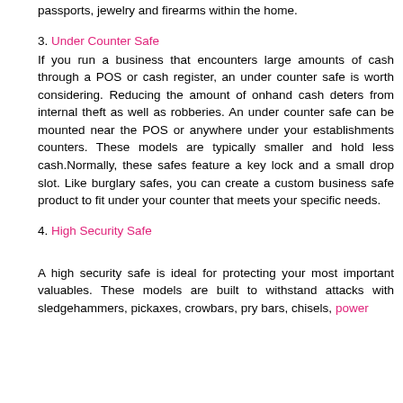passports, jewelry and firearms within the home.
3. Under Counter Safe
If you run a business that encounters large amounts of cash through a POS or cash register, an under counter safe is worth considering. Reducing the amount of onhand cash deters from internal theft as well as robberies. An under counter safe can be mounted near the POS or anywhere under your establishments counters. These models are typically smaller and hold less cash.Normally, these safes feature a key lock and a small drop slot. Like burglary safes, you can create a custom business safe product to fit under your counter that meets your specific needs.
4. High Security Safe
A high security safe is ideal for protecting your most important valuables. These models are built to withstand attacks with sledgehammers, pickaxes, crowbars, pry bars, chisels, power